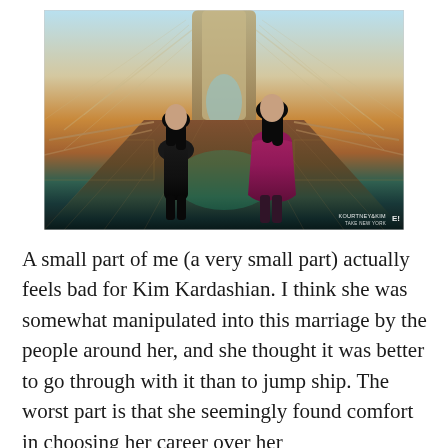[Figure (photo): Two women standing back-to-back on a bridge (Brooklyn Bridge), one in a black outfit and one in a magenta/burgundy form-fitting dress. The bridge has colorful lighting. A watermark reads 'KOURTNEY & KIM TAKE NEW YORK' with an E! logo.]
A small part of me (a very small part) actually feels bad for Kim Kardashian. I think she was somewhat manipulated into this marriage by the people around her, and she thought it was better to go through with it than to jump ship. The worst part is that she seemingly found comfort in choosing her career over her